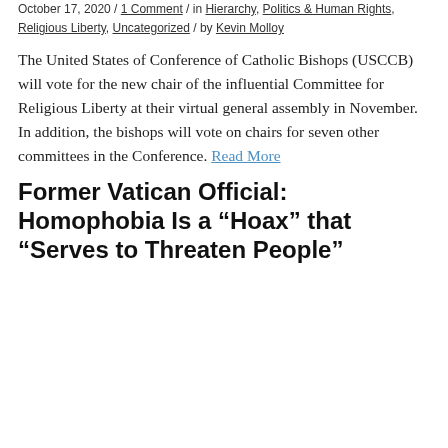October 17, 2020 / 1 Comment / in Hierarchy, Politics & Human Rights, Religious Liberty, Uncategorized / by Kevin Molloy
The United States of Conference of Catholic Bishops (USCCB) will vote for the new chair of the influential Committee for Religious Liberty at their virtual general assembly in November. In addition, the bishops will vote on chairs for seven other committees in the Conference. Read More
Former Vatican Official: Homophobia Is a “Hoax” that “Serves to Threaten People”